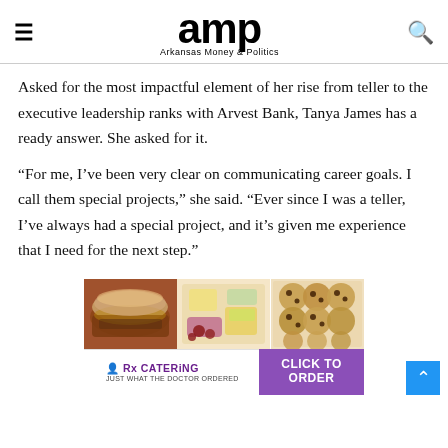amp — Arkansas Money & Politics
Asked for the most impactful element of her rise from teller to the executive leadership ranks with Arvest Bank, Tanya James has a ready answer. She asked for it.
“For me, I’ve been very clear on communicating career goals. I call them special projects,” she said. “Ever since I was a teller, I’ve always had a special project, and it’s given me experience that I need for the next step.”
[Figure (photo): Advertisement: Three food photos (pulled pork sandwich, cheese and fruit platter, cookies) for Rx Catering with a purple 'Click to Order' button.]